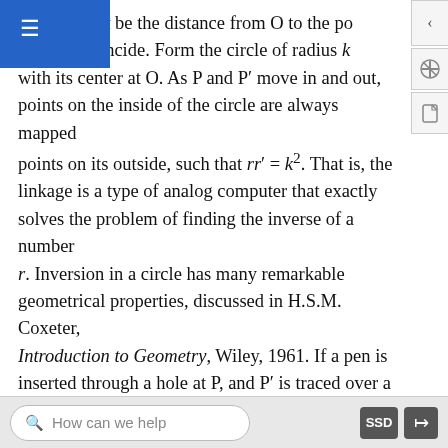flat, let the k be the distance from O to the po P and P′ coincide. Form the circle of radius k with its center at O. As P and P′ move in and out, points on the inside of the circle are always mapped points on its outside, such that rr′ = k². That is, the linkage is a type of analog computer that exactly solves the problem of finding the inverse of a number r. Inversion in a circle has many remarkable geometrical properties, discussed in H.S.M. Coxeter, Introduction to Geometry, Wiley, 1961. If a pen is inserted through a hole at P, and P′ is traced over a geometrical figure, the Peaucellier linkage can be used to draw a kind of image of the figure.
A related problem is the construction of pictures, like the one in the bottom panel of the figure, called